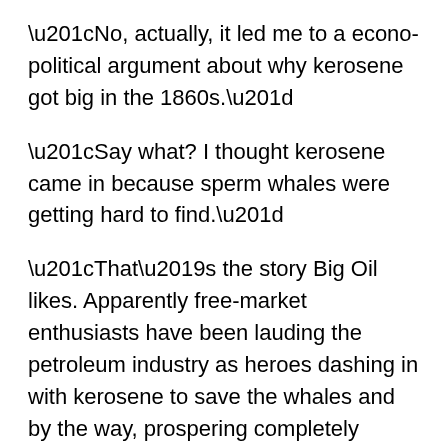“No, actually, it led me to a econo-political argument about why kerosene got big in the 1860s.”
“Say what? I thought kerosene came in because sperm whales were getting hard to find.”
“That’s the story Big Oil likes. Apparently free-market enthusiasts have been lauding the petroleum industry as heroes dashing in with kerosene to save the whales and by the way, prospering completely independent of any government actions. Turns out History doesn’t support either claim. Ever hear of Camphine?”